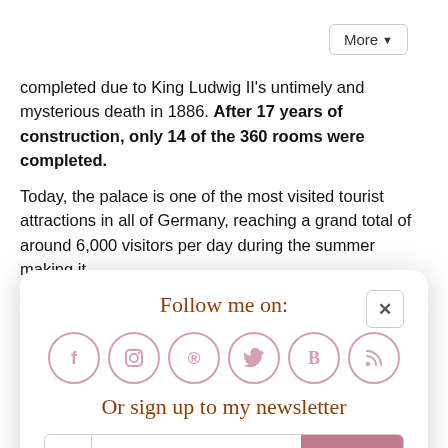completed due to King Ludwig II’s untimely and mysterious death in 1886. After 17 years of construction, only 14 of the 360 rooms were completed.
Today, the palace is one of the most visited tourist attractions in all of Germany, reaching a grand total of around 6,000 visitors per day during the summer making it
[Figure (infographic): Social media follow popup with title 'Follow me on:', social icons for Facebook, Instagram, Pinterest, Twitter, Bloglovin, RSS, and newsletter signup with 'Or sign up to my newsletter' text and a Subscribe/Sign Up! bar.]
you’re looking for a comfortable and easy place to stay with that authentic Bavarian hospitality, consider staying